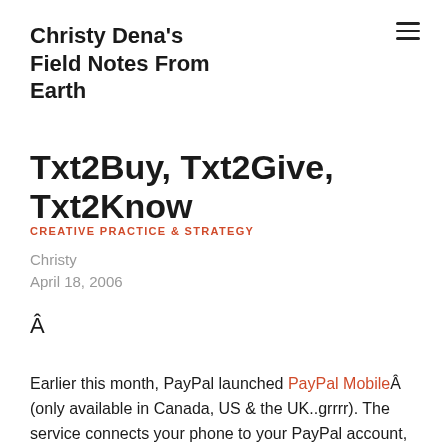Christy Dena's Field Notes From Earth
Txt2Buy, Txt2Give, Txt2Know
CREATIVE PRACTICE & STRATEGY
Christy
April 18, 2006
Â
Earlier this month, PayPal launched PayPal MobileÂ (only available in Canada, US & the UK..grrrr). The service connects your phone to your PayPal account, making you able to purchase from your